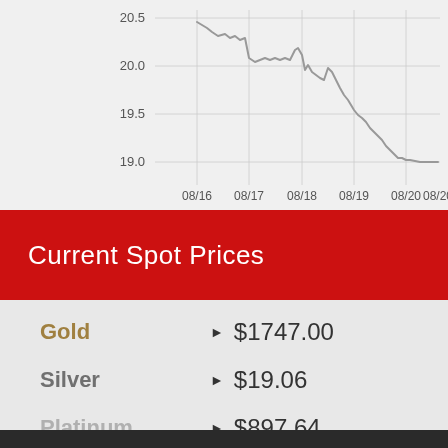[Figure (continuous-plot): Silver price line chart showing decline from ~20.5 to ~19.0 over dates 08/16 to 08/20. Y-axis labels: 19.0, 19.5, 20.0, 20.5. X-axis labels: 08/16, 08/17, 08/18, 08/19, 08/20, 08/20.]
Current Spot Prices
Gold   $1747.00
Silver   $19.06
Platinum   $897.64